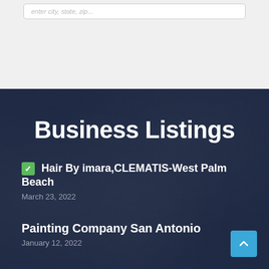[Figure (screenshot): Top white/light grey section with a card or input box partially visible at top]
Business Listings
✅ Hair By imara,CLEMATIS-West Palm Beach
March 23, 2022
Painting Company San Antonio
January 12, 2022